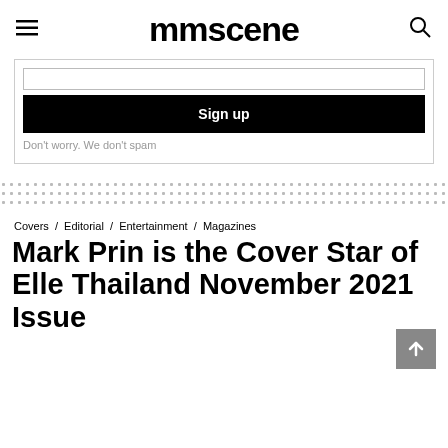mmscene
[Figure (screenshot): Sign up form with input field, black Sign up button, and note 'Don't worry. We don't spam']
[Figure (other): Dotted divider pattern row]
Covers / Editorial / Entertainment / Magazines
Mark Prin is the Cover Star of Elle Thailand November 2021 Issue